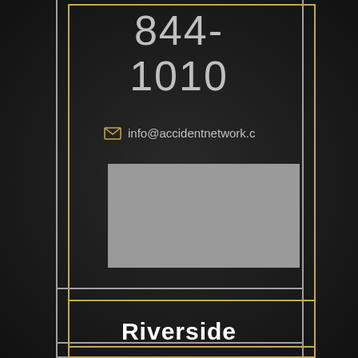844-1010
info@accidentnetwork.c
[Figure (other): Gray placeholder rectangle for image or map]
Riverside